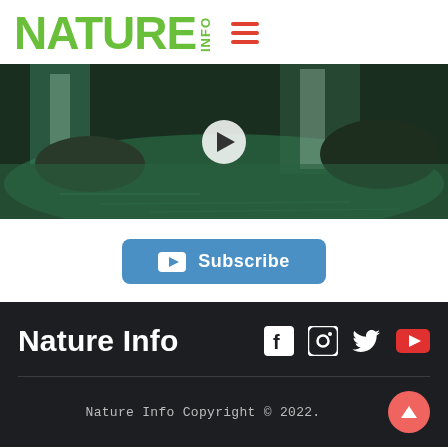NATURE INFO
[Figure (screenshot): Video thumbnail showing a waterfall and green pool with a play button overlay]
[Figure (other): Subscribe button with YouTube icon]
Nature Info
[Figure (other): Social media icons: Facebook, Instagram, Twitter, YouTube]
Nature Info Copyright © 2022.